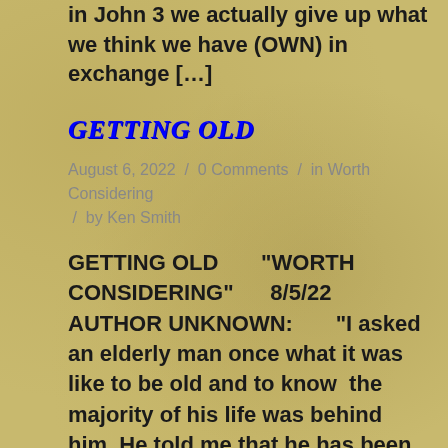in John 3 we actually give up what we think we have (OWN) in exchange […]
GETTING OLD
August 6, 2022  /  0 Comments  /  in Worth Considering  /  by Ken Smith
GETTING OLD   "WORTH CONSIDERING"   8/5/22   AUTHOR UNKNOWN:   "I asked an elderly man once what it was like to be old and to know  the majority of his life was behind him. He told me that he has been the same age his entire life. He said the voice inside of his head had […]